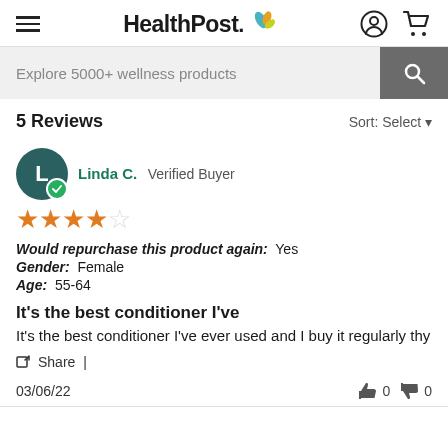HealthPost
Explore 5000+ wellness products
5 Reviews
Sort: Select
Linda C.  Verified Buyer
4 out of 5 stars
Would repurchase this product again:  Yes
Gender:  Female
Age:  55-64
It's the best conditioner I've
It's the best conditioner I've ever used and I buy it regularly thy
Share |
03/06/22
0  0